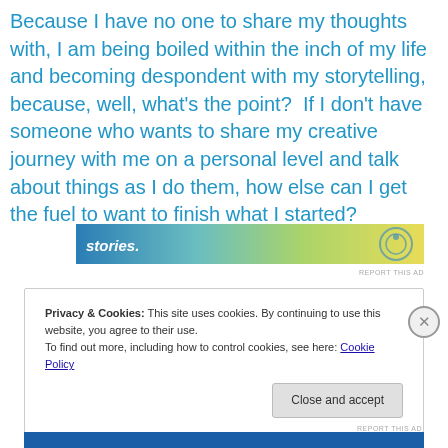Because I have no one to share my thoughts with, I am being boiled within the inch of my life and becoming despondent with my storytelling, because, well, what's the point?  If I don't have someone who wants to share my creative journey with me on a personal level and talk about things as I do them, how else can I get the fuel to want to finish what I started?
[Figure (other): Advertisement banner with gradient background from blue to yellow-green, showing partial text 'stories.' and a circular logo/icon on the right]
Privacy & Cookies: This site uses cookies. By continuing to use this website, you agree to their use.
To find out more, including how to control cookies, see here: Cookie Policy
Close and accept